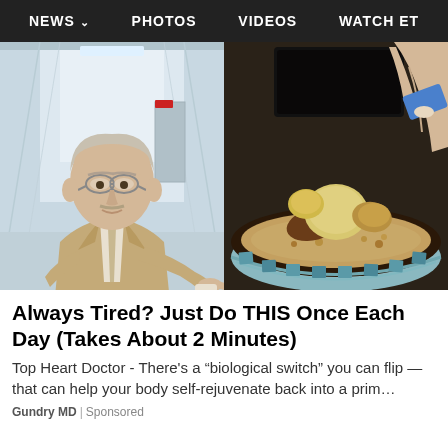NEWS  PHOTOS  VIDEOS  WATCH ET
[Figure (photo): Advertisement image: left half shows an older male doctor in a suit pointing at something; right half shows a close-up of a hand picking up food items from a bowl with sand/granules]
Always Tired? Just Do THIS Once Each Day (Takes About 2 Minutes)
Top Heart Doctor - There’s a “biological switch” you can flip — that can help your body self-rejuvenate back into a prim…
Gundry MD | Sponsored